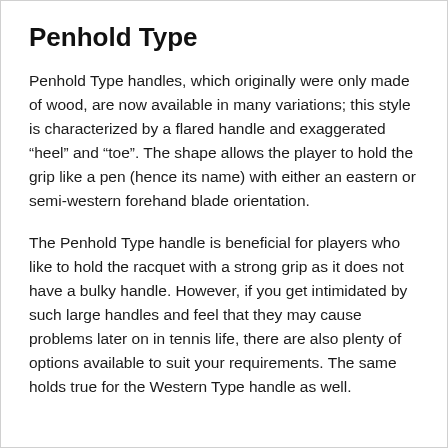Penhold Type
Penhold Type handles, which originally were only made of wood, are now available in many variations; this style is characterized by a flared handle and exaggerated “heel” and “toe”. The shape allows the player to hold the grip like a pen (hence its name) with either an eastern or semi-western forehand blade orientation.
The Penhold Type handle is beneficial for players who like to hold the racquet with a strong grip as it does not have a bulky handle. However, if you get intimidated by such large handles and feel that they may cause problems later on in tennis life, there are also plenty of options available to suit your requirements. The same holds true for the Western Type handle as well.